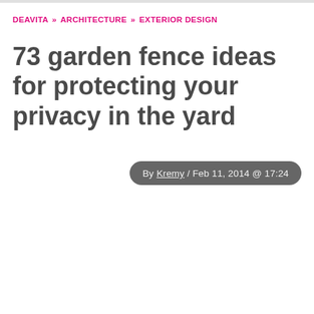DEAVITA » ARCHITECTURE » EXTERIOR DESIGN
73 garden fence ideas for protecting your privacy in the yard
By Kremy / Feb 11, 2014 @ 17:24